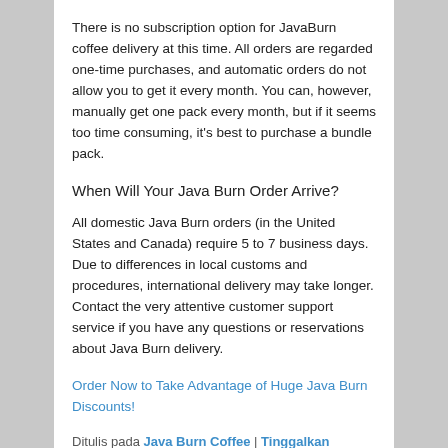There is no subscription option for JavaBurn coffee delivery at this time. All orders are regarded one-time purchases, and automatic orders do not allow you to get it every month. You can, however, manually get one pack every month, but if it seems too time consuming, it's best to purchase a bundle pack.
When Will Your Java Burn Order Arrive?
All domestic Java Burn orders (in the United States and Canada) require 5 to 7 business days. Due to differences in local customs and procedures, international delivery may take longer. Contact the very attentive customer support service if you have any questions or reservations about Java Burn delivery.
Order Now to Take Advantage of Huge Java Burn Discounts!
Ditulis pada Java Burn Coffee | Tinggalkan Balasan